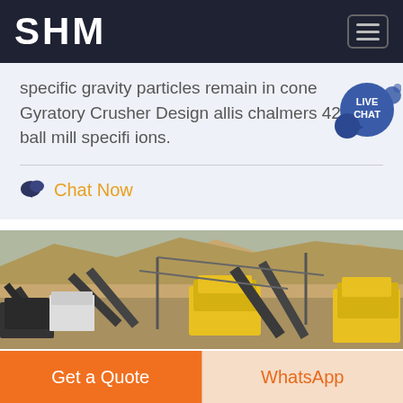SHM
specific gravity particles remain in cone Gyratory Crusher Design allis chalmers 42 65 ball mill specifi ions.
Chat Now
[Figure (photo): Outdoor mining/crushing plant with yellow heavy machinery, conveyor belts, and rocky hillside in background]
Get a Quote
WhatsApp